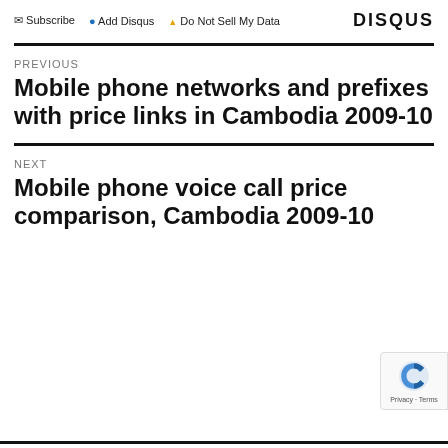Subscribe  Add Disqus  Do Not Sell My Data  DISQUS
PREVIOUS
Mobile phone networks and prefixes with price links in Cambodia 2009-10
NEXT
Mobile phone voice call price comparison, Cambodia 2009-10